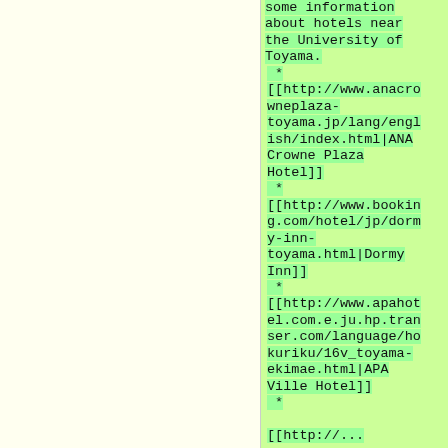some information about hotels near the University of Toyama.
* [[http://www.anacrowneplaza-toyama.jp/lang/english/index.html|ANA Crowne Plaza Hotel]]
* [[http://www.booking.com/hotel/jp/dormy-inn-toyama.html|Dormy Inn]]
* [[http://www.apahotel.com.e.ju.hp.transer.com/language/hokuriku/16v_toyama-ekimae.html|APA Ville Hotel]]
* [[...